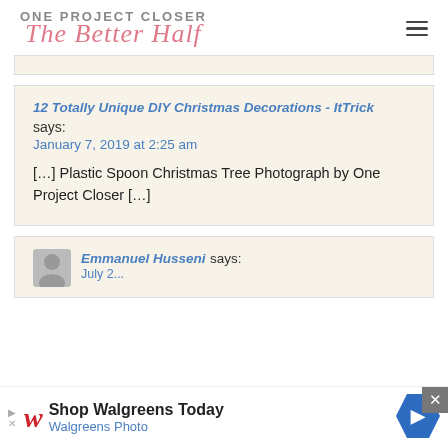ONE PROJECT CLOSER
The Better Half
12 Totally Unique DIY Christmas Decorations - ItTrick says:
January 7, 2019 at 2:25 am
[…] Plastic Spoon Christmas Tree Photograph by One Project Closer […]
Emmanuel Husseni says:
July 2...
[Figure (other): Walgreens advertisement banner: Shop Walgreens Today - Walgreens Photo, with navigation arrow icon]